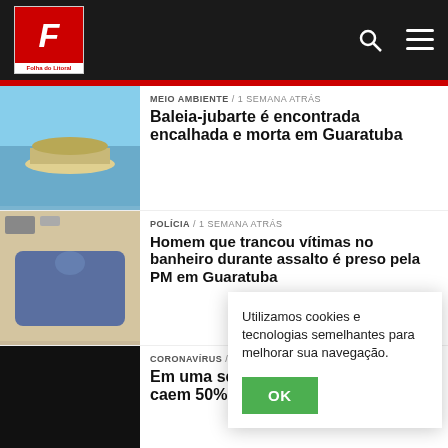[Figure (logo): Folha do Litoral logo with F in red/black]
MEIO AMBIENTE / 1 semana atrás — Baleia-jubarte é encontrada encalhada e morta em Guaratuba
POLÍCIA / 1 semana atrás — Homem que trancou vítimas no banheiro durante assalto é preso pela PM em Guaratuba
CORONAVÍRUS / 2 semanas atrás — Em uma semana, casos de Covid-19 caem 50% em...
POLÍCIA / ... — Pol... ace...
Utilizamos cookies e tecnologias semelhantes para melhorar sua navegação.
OK
CIÊNCIA E SAÚDE / ...